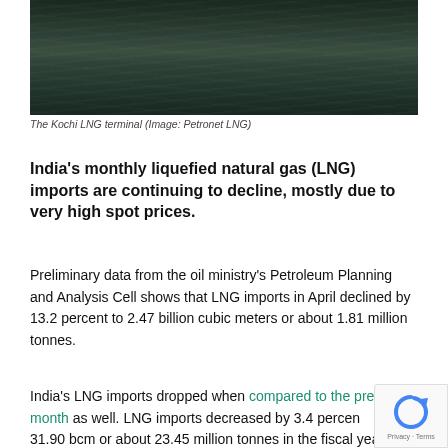[Figure (photo): Aerial or surface view of dark ocean water — the Kochi LNG terminal]
The Kochi LNG terminal (Image: Petronet LNG)
India's monthly liquefied natural gas (LNG) imports are continuing to decline, mostly due to very high spot prices.
Preliminary data from the oil ministry's Petroleum Planning and Analysis Cell shows that LNG imports in April declined by 13.2 percent to 2.47 billion cubic meters or about 1.81 million tonnes.
India's LNG imports dropped when compared to the previous month as well. LNG imports decreased by 3.4 percent to 31.90 bcm or about 23.45 million tonnes in the fiscal year